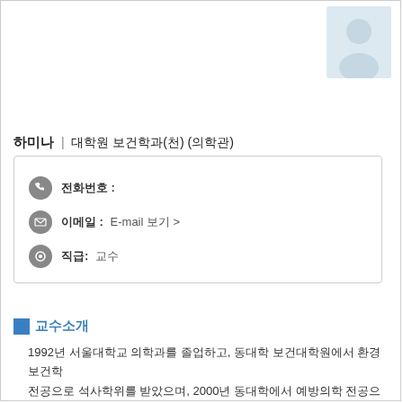[Figure (photo): Person profile photo placeholder (light blue silhouette)]
하미나 | 대학원 보건학과(천) (의학관)
전화번호 :
이메일 : E-mail 보기 >
직급: 교수
교수소개
1992년 서울대학교 의학과를 졸업하고, 동대학 보건대학원에서 환경보건학
전공으로 석사학위를 받았으며, 2000년 동대학에서 예방의학 전공으로 박사학